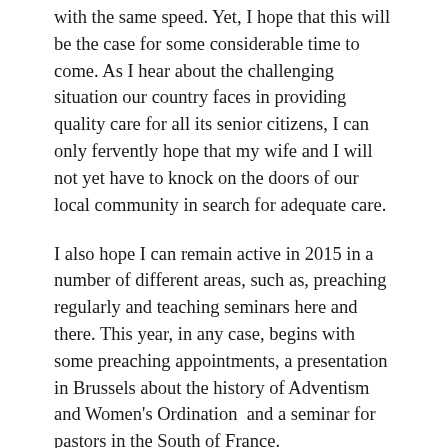with the same speed. Yet, I hope that this will be the case for some considerable time to come. As I hear about the challenging situation our country faces in providing quality care for all its senior citizens, I can only fervently hope that my wife and I will not yet have to knock on the doors of our local community in search for adequate care.
I also hope I can remain active in 2015 in a number of different areas, such as, preaching regularly and teaching seminars here and there. This year, in any case, begins with some preaching appointments, a presentation in Brussels about the history of Adventism and Women's Ordination  and a seminar for pastors in the South of France.
In addition, I hope I will have cotinued inspiration for articles and books. On my most recent to-do list I notice an upcoming deadline for an article in Contact. In the meantime, work on my new devotional book progresses nicely. On New Year's Eve I wrote four devotional messages, so that the total